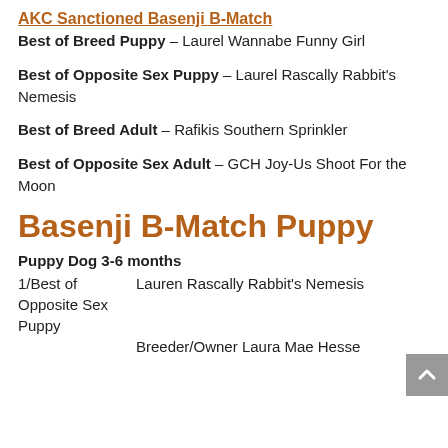AKC Sanctioned Basenji B-Match
Best of Breed Puppy – Laurel Wannabe Funny Girl
Best of Opposite Sex Puppy – Laurel Rascally Rabbit's Nemesis
Best of Breed Adult – Rafikis Southern Sprinkler
Best of Opposite Sex Adult – GCH Joy-Us Shoot For the Moon
Basenji B-Match Puppy
Puppy Dog 3-6 months
1/Best of Opposite Sex Puppy	Lauren Rascally Rabbit's Nemesis
	Breeder/Owner Laura Mae Hesse